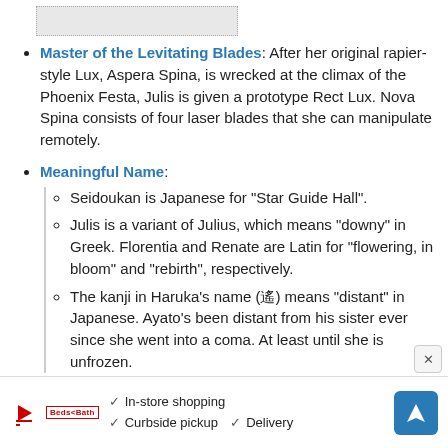[Figure (other): Gray dashed-border image placeholder at top left]
Master of the Levitating Blades: After her original rapier-style Lux, Aspera Spina, is wrecked at the climax of the Phoenix Festa, Julis is given a prototype Rect Lux. Nova Spina consists of four laser blades that she can manipulate remotely.
Meaningful Name:
Seidoukan is Japanese for "Star Guide Hall".
Julis is a variant of Julius, which means "downy" in Greek. Florentia and Renate are Latin for "flowering, in bloom" and "rebirth", respectively.
The kanji in Haruka's name (遙) means "distant" in Japanese. Ayato's been distant from his sister ever since she went into a coma. At least until she is unfrozen.
Memento MacGuffin: There are several in the story
[Figure (other): Advertisement banner at bottom: In-store shopping, Curbside pickup, Delivery options with navigation arrow icon]